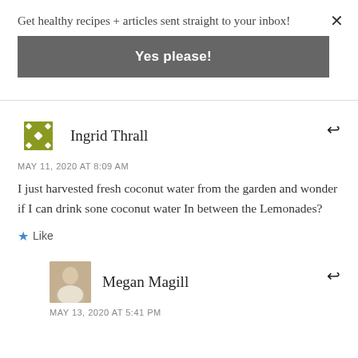Get healthy recipes + articles sent straight to your inbox!
Yes please!
×
Ingrid Thrall
MAY 11, 2020 AT 8:09 AM
I just harvested fresh coconut water from the garden and wonder if I can drink sone coconut water In between the Lemonades?
Like
Megan Magill
MAY 13, 2020 AT 5:41 PM